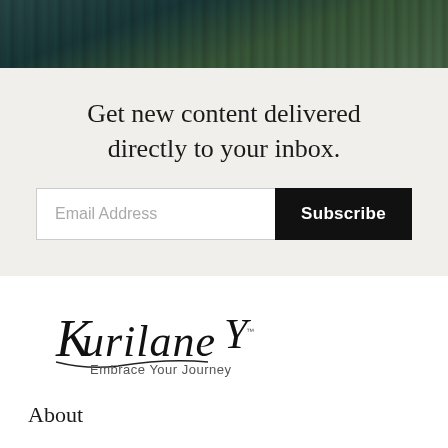[Figure (photo): Dark teal/green textured background image at the top of the page, resembling a forest or wooden surface]
Get new content delivered directly to your inbox.
Email Address
Subscribe
[Figure (logo): Kurilane logo with cursive/handwritten text 'Kurilane' and tagline 'Embrace Your Journey' below it, with a stylized bird or similar mark]
About